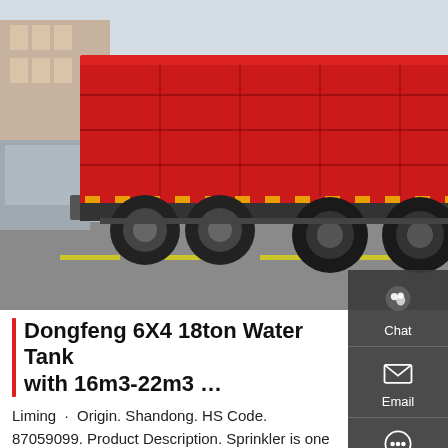[Figure (photo): Red Dongfeng dump truck parked on a road, rear view showing the large red tipper body, with buildings and trees in the background.]
Dongfeng 6X4 18ton Water Tank with 16m3-22m3 …
Liming · Origin. Shandong. HS Code. 87059099. Product Description. Sprinkler is one of the types of tank truck, Using for transporting water or sprinkling or dustfall. The available capacity: about 2 cubic meters to 30 cubic meters. (2-30m3) Detail specification. Our
...